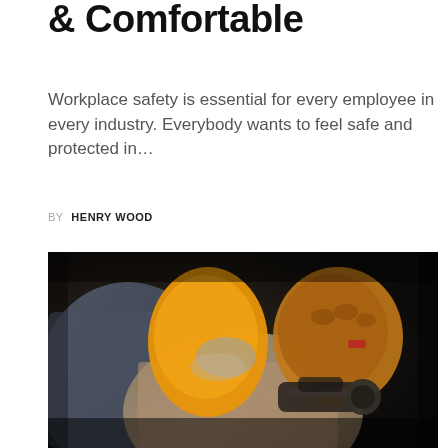& Comfortable
Workplace safety is essential for every employee in every industry. Everybody wants to feel safe and protected in…
BY HENRY WOOD
[Figure (photo): Close-up photograph of a worker's hands wearing orange and grey heavy-duty work gloves, gripping a power drill tool. The worker is wearing a tan work jacket. Dark industrial background.]